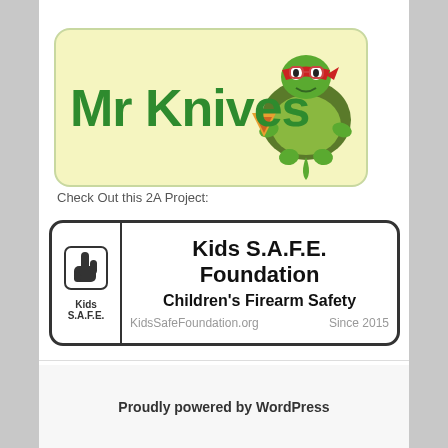[Figure (logo): Mr Knives banner logo with green text on yellow background and cartoon turtle mascot wearing red bandana]
Check Out this 2A Project:
[Figure (logo): Kids S.A.F.E. Foundation banner with pointing hand icon, text 'Kids S.A.F.E. Foundation', 'Children's Firearm Safety', 'KidsSafeFoundation.org', 'Since 2015']
Proudly powered by WordPress